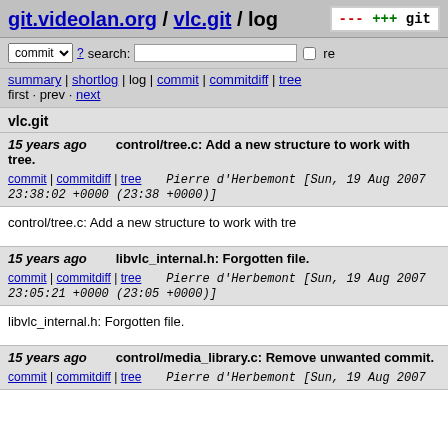git.videolan.org / vlc.git / log
commit | ? search: | re
summary | shortlog | log | commit | commitdiff | tree
first · prev · next
vlc.git
15 years ago    control/tree.c: Add a new structure to work with tree.
commit | commitdiff | tree    Pierre d'Herbemont [Sun, 19 Aug 2007 23:38:02 +0000 (23:38 +0000)]
control/tree.c: Add a new structure to work with tre
15 years ago    libvlc_internal.h: Forgotten file.
commit | commitdiff | tree    Pierre d'Herbemont [Sun, 19 Aug 2007 23:05:21 +0000 (23:05 +0000)]
libvlc_internal.h: Forgotten file.
15 years ago    control/media_library.c: Remove unwanted commit.
commit | commitdiff | tree    Pierre d'Herbemont [Sun, 19 Aug 2007